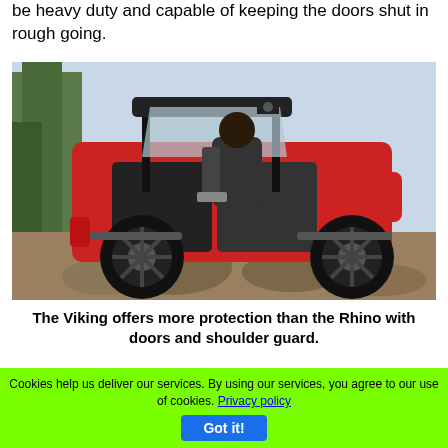be heavy duty and capable of keeping the doors shut in rough going.
[Figure (photo): A red Yamaha Viking side-by-side UTV with black doors and shoulder guard, navigating rocky terrain outdoors with trees in the background.]
The Viking offers more protection than the Rhino with doors and shoulder guard.
You won't find any safety nets, and we didn't even see any offered in the listed accessories. There is a
Cookies help us deliver our services. By using our services, you agree to our use of cookies. Privacy policy  Got it!